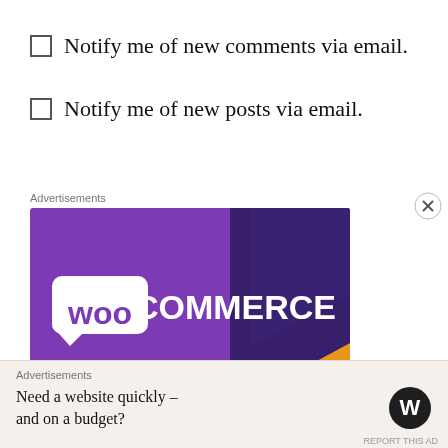☐ Notify me of new comments via email.
☐ Notify me of new posts via email.
Advertisements
[Figure (logo): WooCommerce advertisement banner with purple background and white WooCommerce logo text on a dark navy/purple folded card design with orange accent in the bottom right corner.]
Advertisements
Need a website quickly – and on a budget?